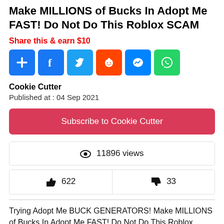Make MILLIONS of Bucks In Adopt Me FAST! Do Not Do This Roblox SCAM
Share this & earn $10
[Figure (infographic): Social share buttons: Add, Facebook, Twitter, Reddit, Messenger, WhatsApp]
Cookie Cutter
Published at : 04 Sep 2021
Subscribe to Cookie Cutter
👁 11896 views
👍 622   👎 33
Trying Adopt Me BUCK GENERATORS! Make MILLIONS of Bucks In Adopt Me FAST! Do Not Do This Roblox SCAM🔴Use star code "CANDY" when buying robux, premium or roblox gift cards Follow My Roblox Profile: